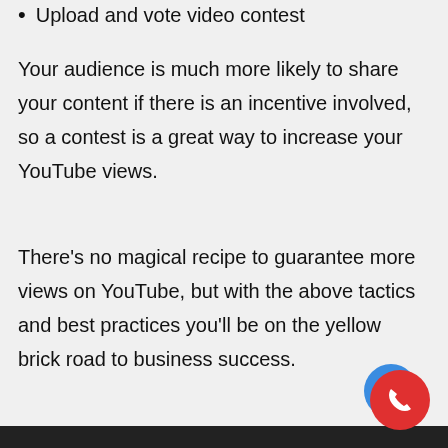Upload and vote video contest
Your audience is much more likely to share your content if there is an incentive involved, so a contest is a great way to increase your YouTube views.
There’s no magical recipe to guarantee more views on YouTube, but with the above tactics and best practices you’ll be on the yellow brick road to business success.